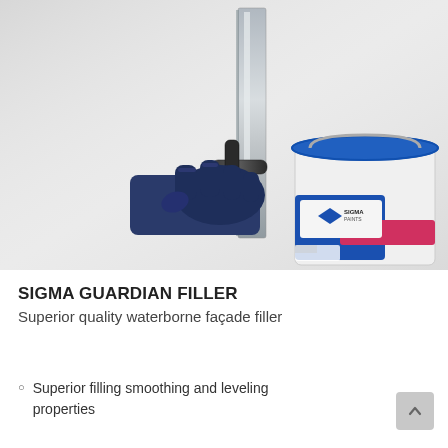[Figure (photo): A gloved hand holding a large metal trowel/spatula against a smooth light-colored wall surface, applying or smoothing filler. In the lower right corner of the photo, a Sigma Paints branded white bucket with blue lid and blue/pink label is shown.]
SIGMA GUARDIAN FILLER
Superior quality waterborne façade filler
Superior filling smoothing and leveling properties